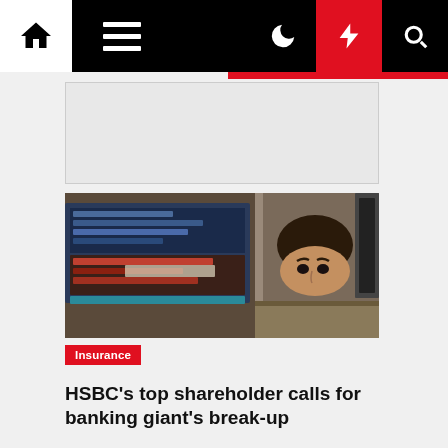Navigation bar with home, menu, dark mode, lightning/breaking news, and search icons
[Figure (photo): A man peering over a trading desk with multiple stock market screens in the background showing financial data]
Insurance
HSBC's top shareholder calls for banking giant's break-up